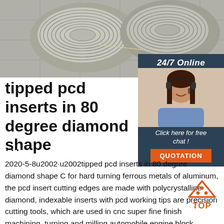[Figure (photo): Photo of two large spools/coils of silver metallic wire or cable on a tiled floor, viewed from above at an angle.]
tipped pcd inserts in 80 degree diamond shape
...
2020-5-8u2002·u2002tipped pcd inserts in 80 degree diamond shape C for hard turning ferrous metals of aluminum, the pcd insert cutting edges are made with polycrystalline diamond, indexable inserts with pcd working tips are precision cutting tools, which are used in cnc super fine finish machining, turning and milling automobile engine block, cylinder head, gearbox